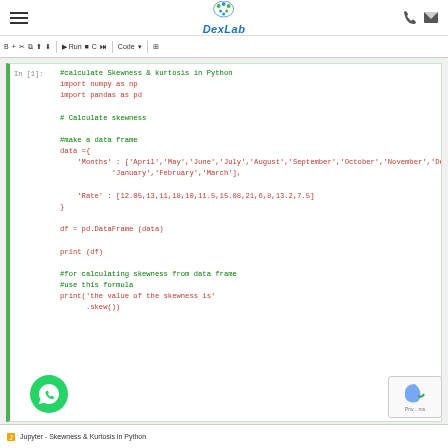DexLab
[Figure (screenshot): Jupyter notebook toolbar with run controls and code/mode selectors]
[Figure (screenshot): Python code cell In [1]: calculating skewness and kurtosis using numpy and pandas, creating a DataFrame with Months and Rate data]
Jupyter - Skewness & Kurtosis in Python